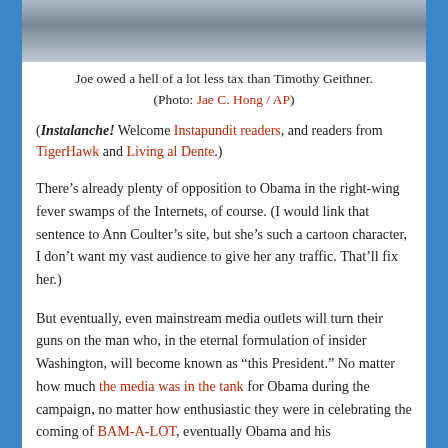[Figure (photo): Cropped photo of people, partially visible at top of page]
Joe owed a hell of a lot less tax than Timothy Geithner.
(Photo: Jae C. Hong / AP)
(Instalanche! Welcome Instapundit readers, and readers from TigerHawk and Living al Dente.)
There’s already plenty of opposition to Obama in the right-wing fever swamps of the Internets, of course. (I would link that sentence to Ann Coulter’s site, but she’s such a cartoon character, I don’t want my vast audience to give her any traffic. That’ll fix her.)
But eventually, even mainstream media outlets will turn their guns on the man who, in the eternal formulation of insider Washington, will become known as “this President.” No matter how much the media was in the tank for Obama during the campaign, no matter how enthusiastic they were in celebrating the coming of BAM-A-LOT, eventually Obama and his Administration will make missteps that even the most liberal papers cannot